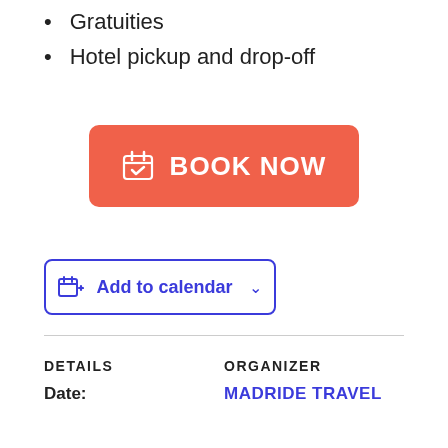Gratuities
Hotel pickup and drop-off
[Figure (other): Orange/red BOOK NOW button with calendar check icon]
[Figure (other): Add to calendar button with calendar icon and chevron dropdown]
DETAILS
ORGANIZER
Date:
MADRIDE TRAVEL